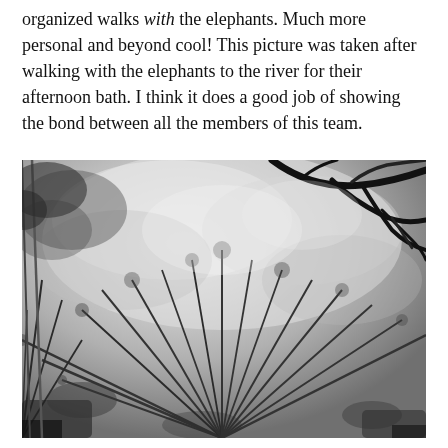organized walks with the elephants. Much more personal and beyond cool! This picture was taken after walking with the elephants to the river for their afternoon bath. I think it does a good job of showing the bond between all the members of this team.
[Figure (photo): Black and white photograph looking upward through tall bamboo or reed-like grasses with bare tree branches silhouetted against a bright, cloudy sky. The composition shows radiating stalks fanning out from the lower portion of the frame, with a dark branching tree limb crossing the upper right.]